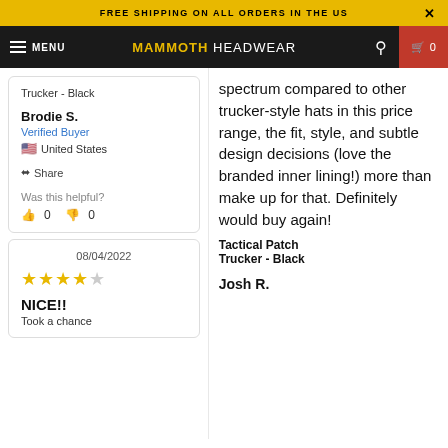FREE SHIPPING ON ALL ORDERS IN THE US
MAMMOTH HEADWEAR — MENU
Trucker - Black
Brodie S.
Verified Buyer
United States
Share
Was this helpful?
👍 0  👎 0
08/04/2022
★★★★☆
NICE!!
Take a chance
spectrum compared to other trucker-style hats in this price range, the fit, style, and subtle design decisions (love the branded inner lining!) more than make up for that. Definitely would buy again!
Tactical Patch Trucker - Black
Josh R.